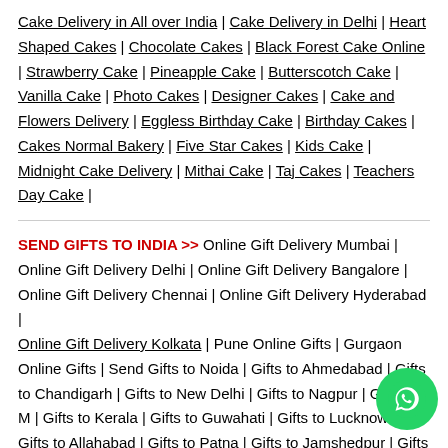Cake Delivery in All over India | Cake Delivery in Delhi | Heart Shaped Cakes | Chocolate Cakes | Black Forest Cake Online | Strawberry Cake | Pineapple Cake | Butterscotch Cake | Vanilla Cake | Photo Cakes | Designer Cakes | Cake and Flowers Delivery | Eggless Birthday Cake | Birthday Cakes | Cakes Normal Bakery | Five Star Cakes | Kids Cake | Midnight Cake Delivery | Mithai Cake | Taj Cakes | Teachers Day Cake |
SEND GIFTS TO INDIA >> Online Gift Delivery Mumbai | Online Gift Delivery Delhi | Online Gift Delivery Bangalore | Online Gift Delivery Chennai | Online Gift Delivery Hyderabad | Online Gift Delivery Kolkata | Pune Online Gifts | Gurgaon Online Gifts | Send Gifts to Noida | Gifts to Ahmedabad | Gifts to Chandigarh | Gifts to New Delhi | Gifts to Nagpur | Gifts to M | Gifts to Kerala | Gifts to Guwahati | Gifts to Lucknow | Gifts to Allahabad | Gifts to Patna | Gifts to Jamshedpur | Gifts to Guntur |